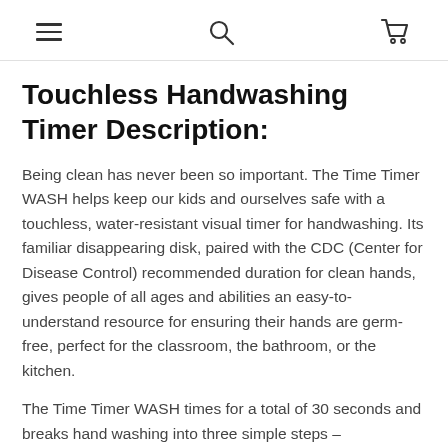navigation header with hamburger menu, search icon, and cart icon
Touchless Handwashing Timer Description:
Being clean has never been so important. The Time Timer WASH helps keep our kids and ourselves safe with a touchless, water-resistant visual timer for handwashing. Its familiar disappearing disk, paired with the CDC (Center for Disease Control) recommended duration for clean hands, gives people of all ages and abilities an easy-to-understand resource for ensuring their hands are germ-free, perfect for the classroom, the bathroom, or the kitchen.
The Time Timer WASH times for a total of 30 seconds and breaks hand washing into three simple steps –
1. Soap (5 seconds),